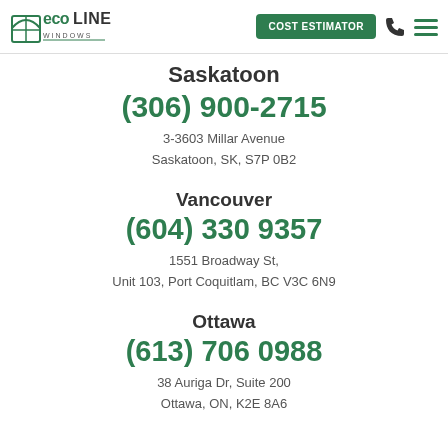[Figure (logo): Eco Line Windows logo with green arch/window icon and text]
COST ESTIMATOR
Saskatoon
(306) 900-2715
3-3603 Millar Avenue
Saskatoon, SK, S7P 0B2
Vancouver
(604) 330 9357
1551 Broadway St,
Unit 103, Port Coquitlam, BC V3C 6N9
Ottawa
(613) 706 0988
38 Auriga Dr, Suite 200
Ottawa, ON, K2E 8A6